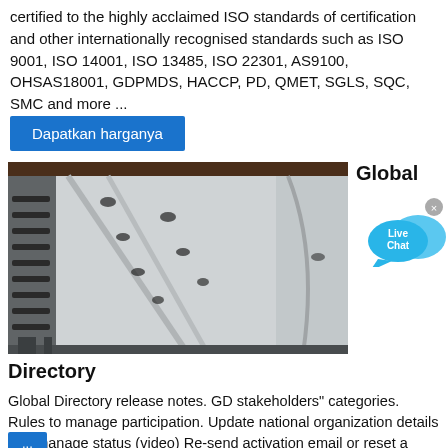certified to the highly acclaimed ISO standards of certification and other internationally recognised standards such as ISO 9001, ISO 14001, ISO 13485, ISO 22301, AS9100, OHSAS18001, GDPMDS, HACCP, PD, QMET, SGLS, SQC, SMC and more ...
Dapatkan harganya
[Figure (photo): Photo of white industrial metal shelving or cabinet components with black fasteners/clips, showing close-up of structural panels and fittings.]
Global
[Figure (illustration): Live Chat button with blue speech bubble icons and an X close button.]
Directory
Global Directory release notes. GD stakeholders" categories. Rules to manage participation. Update national organization details and manage status (video) Re-send activation email or reset a password (video) Update organization participation. GD reports. Create national technical committee (video) GD ...